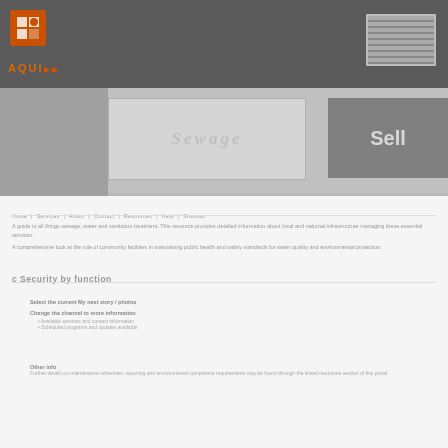AQUI [logo with icon]
[Figure (photo): Banner image with Sewage text overlay and right panel]
Navigation link bar
Main descriptive text block about sewage/water treatment topic
c Security by function
Select the current My next story / photos
Change the channel to more information
Other info